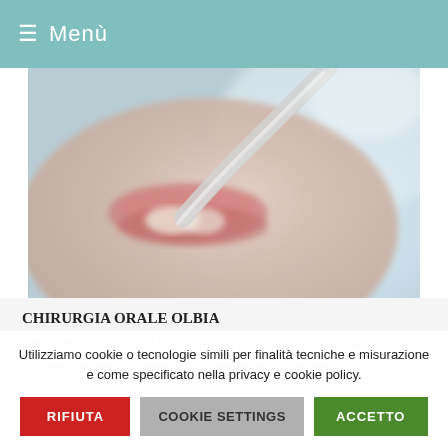≡  Menù
[Figure (photo): Close-up dental photo showing a patient's mouth with dental instruments (suction tube) visible, soft-focus background]
CHIRURGIA ORALE OLBIA
CHIRURGIA ORALE AD OLBIA La chirurgia orale comprende differenti interventi chirurgici che interessano il cavo orale:
Utilizziamo cookie o tecnologie simili per finalità tecniche e misurazione e come specificato nella privacy e cookie policy.
RIFIUTA  COOKIE SETTINGS  ACCETTO